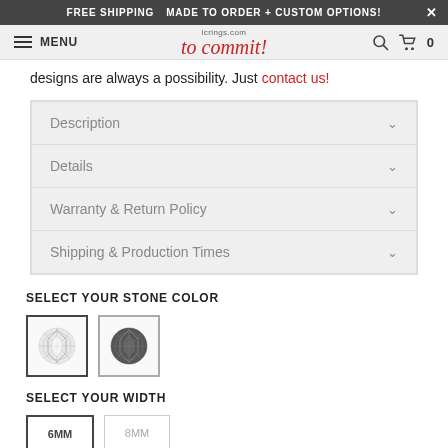FREE SHIPPING   MADE TO ORDER + CUSTOM OPTIONS!   X
MENU  to commit!  [search] [cart] 0
designs are always a possibility. Just contact us!
Description
Details
Warranty & Return Policy
Shipping & Production Times
SELECT YOUR STONE COLOR
[Figure (photo): Two stone color swatches: clear/white diamond and dark/black diamond]
SELECT YOUR WIDTH
[Figure (other): Two width option swatches: 6MM (selected) and 8MM]